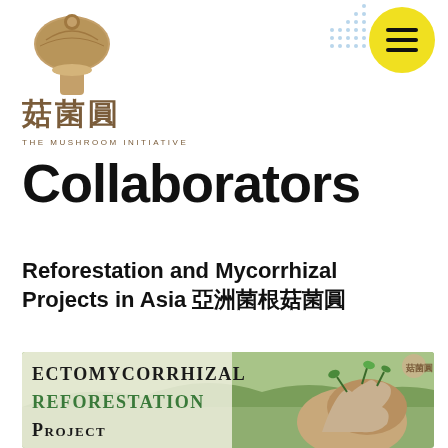[Figure (logo): The Mushroom Initiative logo: mushroom illustration above Chinese characters 菇菌圓 and English text THE MUSHROOM INITIATIVE]
[Figure (other): Yellow circle hamburger menu button with three horizontal lines in top right corner]
Collaborators
Reforestation and Mycorrhizal Projects in Asia 亞洲菌根菇菌圓
[Figure (photo): Banner image showing ECTOMYCORRHIZAL REFORESTATION PROJECT text in small-caps on a green/nature background with hands holding seedlings on the right side and the Mushroom Initiative logo top right]